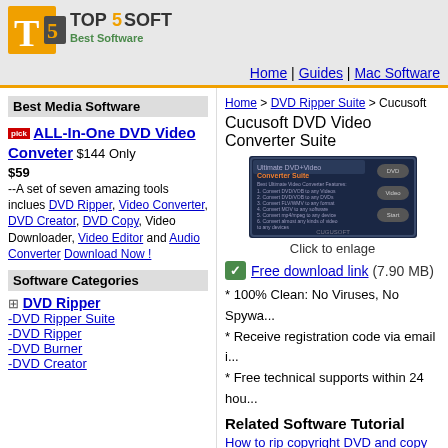[Figure (logo): Top5Soft Best Software logo with orange T square and green text]
Home | Guides | Mac Software
Best Media Software
Home > DVD Ripper Suite > Cucusoft
pick ALL-In-One DVD Video Conveter $144 Only $59 --A set of seven amazing tools inclues DVD Ripper, Video Converter, DVD Creator, DVD Copy, Video Downloader, Video Editor and Audio Converter Download Now !
Cucusoft DVD Video Converter Suite
[Figure (screenshot): Screenshot of Cucusoft Ultimate DVD+Video Converter Suite software interface showing dark blue UI with menu buttons]
Click to enlage
Free download link (7.90 MB)
* 100% Clean: No Viruses, No Spyware
* Receive registration code via email in
* Free technical supports within 24 hou
Software Categories
+ DVD Ripper
-DVD Ripper Suite
-DVD Ripper
-DVD Burner
-DVD Creator
Related Software Tutorial
How to rip copyright DVD and copy p...
How to convert video, edit video, trim...